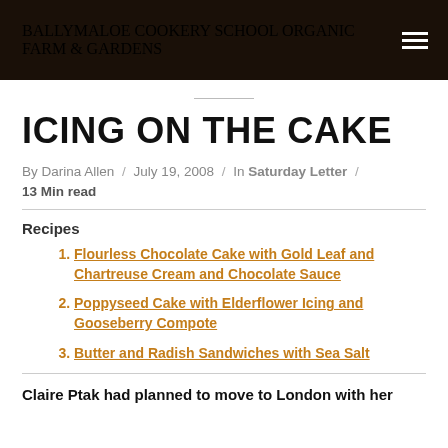BALLYMALOE COOKERY SCHOOL ORGANIC FARM & GARDENS
ICING ON THE CAKE
By Darina Allen / July 19, 2008 / In Saturday Letter / 13 Min read
Recipes
Flourless Chocolate Cake with Gold Leaf and Chartreuse Cream and Chocolate Sauce
Poppyseed Cake with Elderflower Icing and Gooseberry Compote
Butter and Radish Sandwiches with Sea Salt
Claire Ptak had planned to move to London with her